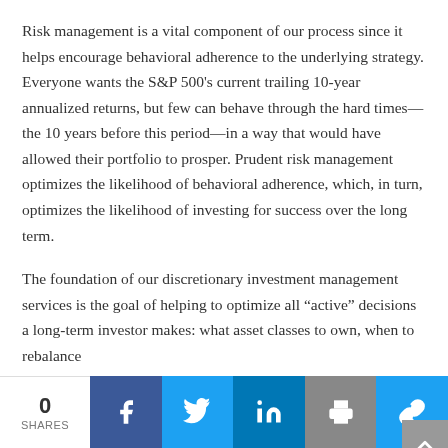Risk management is a vital component of our process since it helps encourage behavioral adherence to the underlying strategy. Everyone wants the S&P 500's current trailing 10-year annualized returns, but few can behave through the hard times—the 10 years before this period—in a way that would have allowed their portfolio to prosper. Prudent risk management optimizes the likelihood of behavioral adherence, which, in turn, optimizes the likelihood of investing for success over the long term.
The foundation of our discretionary investment management services is the goal of helping to optimize all "active" decisions a long-term investor makes: what asset classes to own, when to rebalance
0 SHARES | Facebook | Twitter | LinkedIn | Print | Link